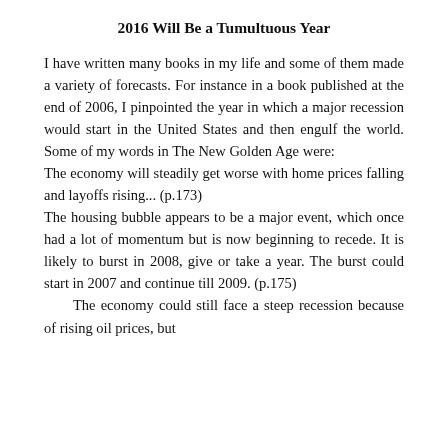2016 Will Be a Tumultuous Year
I have written many books in my life and some of them made a variety of forecasts. For instance in a book published at the end of 2006, I pinpointed the year in which a major recession would start in the United States and then engulf the world. Some of my words in The New Golden Age were:
The economy will steadily get worse with home prices falling and layoffs rising... (p.173)
The housing bubble appears to be a major event, which once had a lot of momentum but is now beginning to recede. It is likely to burst in 2008, give or take a year. The burst could start in 2007 and continue till 2009. (p.175)
    The economy could still face a steep recession because of rising oil prices, but